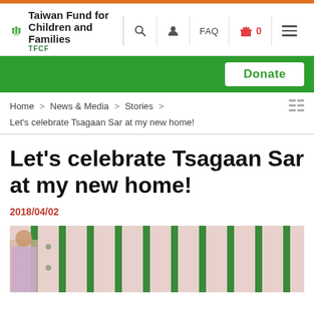Taiwan Fund for Children and Families
Home > News & Media > Stories >
Let's celebrate Tsagaan Sar at my new home!
Let's celebrate Tsagaan Sar at my new home!
2018/04/02
[Figure (photo): Photo showing a person in traditional clothing in front of a green and pink patterned fabric backdrop]